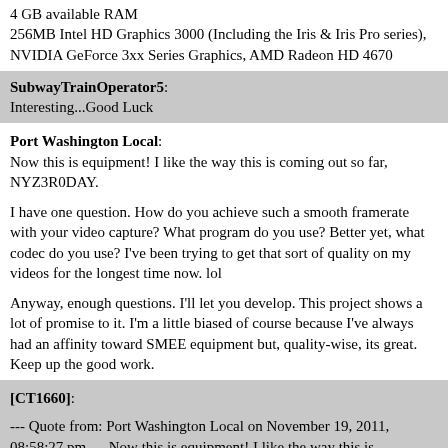4 GB available RAM
256MB Intel HD Graphics 3000 (Including the Iris & Iris Pro series), NVIDIA GeForce 3xx Series Graphics, AMD Radeon HD 4670
SubwayTrainOperator5:
Interesting...Good Luck
Port Washington Local:
Now this is equipment! I like the way this is coming out so far, NYZ3R0DAY.

I have one question. How do you achieve such a smooth framerate with your video capture? What program do you use? Better yet, what codec do you use? I've been trying to get that sort of quality on my videos for the longest time now. lol

Anyway, enough questions. I'll let you develop. This project shows a lot of promise to it. I'm a little biased of course because I've always had an affinity toward SMEE equipment but, quality-wise, its great. Keep up the good work.
[CT1660]:

--- Quote from: Port Washington Local on November 19, 2011, 08:58:27 pm --- Now this is equipment! I like the way this is